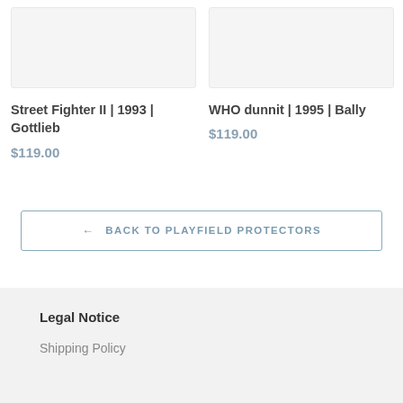[Figure (photo): Product image placeholder for Street Fighter II 1993 Gottlieb playfield protector]
Street Fighter II | 1993 | Gottlieb
$119.00
[Figure (photo): Product image placeholder for WHO dunnit 1995 Bally playfield protector]
WHO dunnit | 1995 | Bally
$119.00
← BACK TO PLAYFIELD PROTECTORS
Legal Notice
Shipping Policy